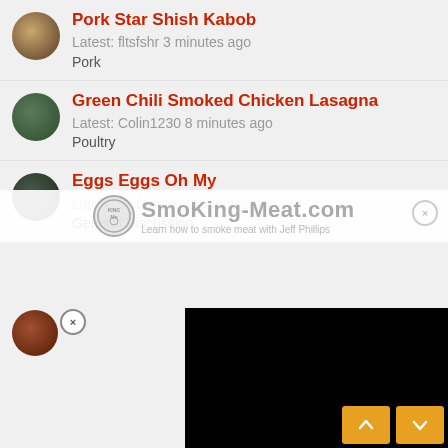Pork Star Shish Kabob
Latest: fltsfshr 3 minutes ago
Pork
Green Chili Smoked Chicken Lasagna
Latest: Colin1230 8 minutes ago
Poultry
Eggs Eggs Oh My
Latest: pc farmer 23 minutes ago
General Discussion
(partial row) ...s ago
[Figure (screenshot): Black video ad overlay with play button icon in top-right corner]
[Figure (logo): SmoKing-Meat.com watermark footer with circular logo and tagline 'Learn how to smoke meat with Jeff Phillips']